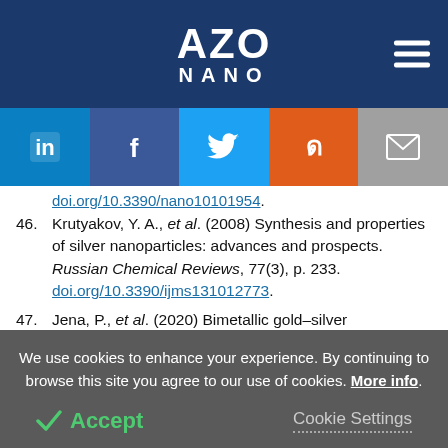AZO NANO
[Figure (other): Social sharing buttons: LinkedIn, Facebook, Twitter, Reddit, Email]
doi.org/10.3390/nano10101954.
46. Krutyakov, Y. A., et al. (2008) Synthesis and properties of silver nanoparticles: advances and prospects. Russian Chemical Reviews, 77(3), p. 233. doi.org/10.3390/ijms131012773.
47. Jena, P., et al. (2020) Bimetallic gold–silver nanoparticles mediate bacterial killing by
We use cookies to enhance your experience. By continuing to browse this site you agree to our use of cookies. More info.
Accept   Cookie Settings